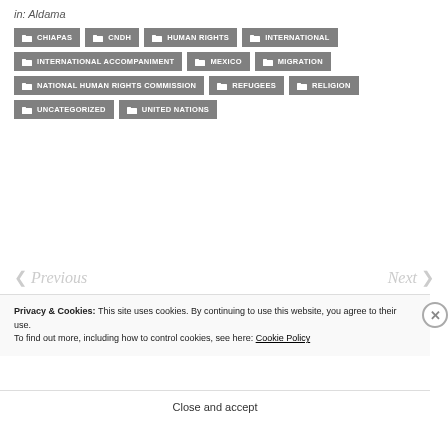in: Aldama
CHIAPAS
CNDH
HUMAN RIGHTS
INTERNATIONAL
INTERNATIONAL ACCOMPANIMENT
MEXICO
MIGRATION
NATIONAL HUMAN RIGHTS COMMISSION
REFUGEES
RELIGION
UNCATEGORIZED
UNITED NATIONS
< Previous   Next >
Privacy & Cookies: This site uses cookies. By continuing to use this website, you agree to their use.
To find out more, including how to control cookies, see here: Cookie Policy
Close and accept